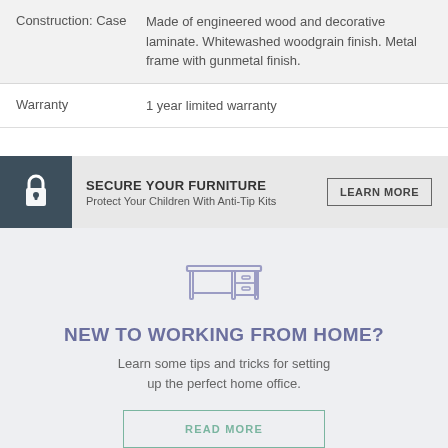| Property | Value |
| --- | --- |
| Construction: Case | Made of engineered wood and decorative laminate. Whitewashed woodgrain finish. Metal frame with gunmetal finish. |
| Warranty | 1 year limited warranty |
[Figure (infographic): Security banner with lock icon, text 'SECURE YOUR FURNITURE / Protect Your Children With Anti-Tip Kits' and a 'LEARN MORE' button]
[Figure (illustration): Light purple/lavender outline icon of a desk with a drawer]
NEW TO WORKING FROM HOME?
Learn some tips and tricks for setting up the perfect home office.
READ MORE